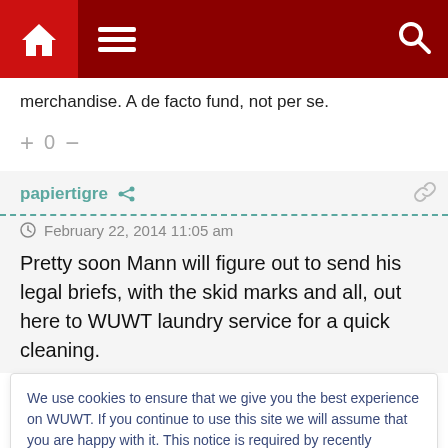[Figure (screenshot): Website navigation bar with dark red background, home icon, hamburger menu icon, and search icon]
merchandise. A de facto fund, not per se.
+ 0 −
papiertigre
February 22, 2014 11:05 am
Pretty soon Mann will figure out to send his legal briefs, with the skid marks and all, out here to WUWT laundry service for a quick cleaning.
We use cookies to ensure that we give you the best experience on WUWT. If you continue to use this site we will assume that you are happy with it. This notice is required by recently enacted EU GDPR rules, and since WUWT is a globally read website, we need to keep the bureaucrats off our case! Cookie Policy
Close and accept
I wonder where the provenance of the misquote (SkS) leaves